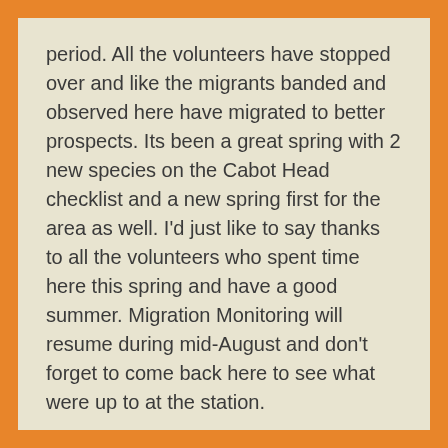period. All the volunteers have stopped over and like the migrants banded and observed here have migrated to better prospects. Its been a great spring with 2 new species on the Cabot Head checklist and a new spring first for the area as well. I'd just like to say thanks to all the volunteers who spent time here this spring and have a good summer. Migration Monitoring will resume during mid-August and don't forget to come back here to see what were up to at the station.
Cheers
Andrew